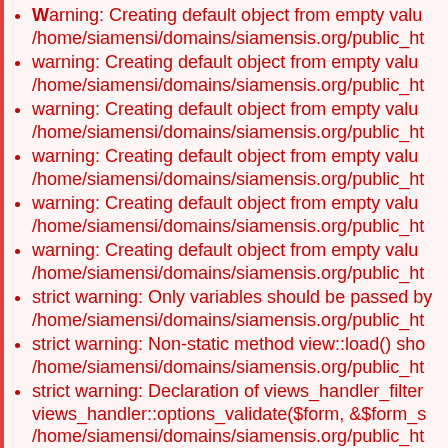Warning: Creating default object from empty valu /home/siamensi/domains/siamensis.org/public_ht
warning: Creating default object from empty valu /home/siamensi/domains/siamensis.org/public_ht
warning: Creating default object from empty valu /home/siamensi/domains/siamensis.org/public_ht
warning: Creating default object from empty valu /home/siamensi/domains/siamensis.org/public_ht
warning: Creating default object from empty valu /home/siamensi/domains/siamensis.org/public_ht
warning: Creating default object from empty valu /home/siamensi/domains/siamensis.org/public_ht
strict warning: Only variables should be passed by /home/siamensi/domains/siamensis.org/public_ht
strict warning: Non-static method view::load() sho /home/siamensi/domains/siamensis.org/public_ht
strict warning: Declaration of views_handler_filter views_handler::options_validate($form, &$form_s /home/siamensi/domains/siamensis.org/public_ht on line 0.
strict warning: Declaration of views_handler_filter views_handler::options_submit($form, &$form_st